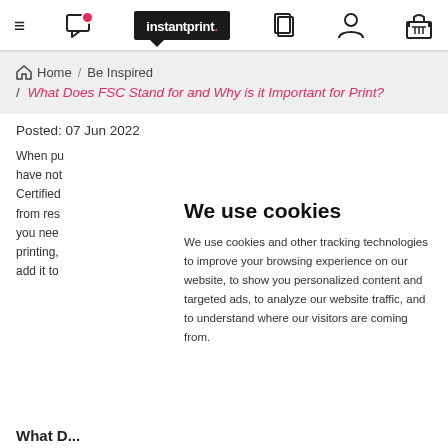instantprint. navigation bar with hamburger menu, chat, logo, documents, account, and basket icons
Home / Be Inspired / What Does FSC Stand for and Why is it Important for Print?
Posted: 07 Jun 2022
When pu... have not... Certified... from res... you need... printing,... add it to...
What D...
We use cookies

We use cookies and other tracking technologies to improve your browsing experience on our website, to show you personalized content and targeted ads, to analyze our website traffic, and to understand where our visitors are coming from.